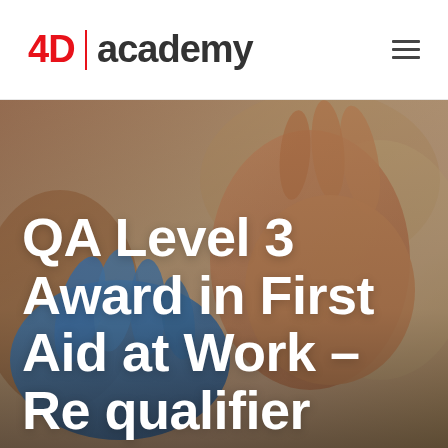4D | academy
[Figure (photo): Close-up of hands performing first aid, one hand wearing a blue medical glove touching another person's hand, with a blurred background.]
QA Level 3 Award in First Aid at Work – Re qualifier